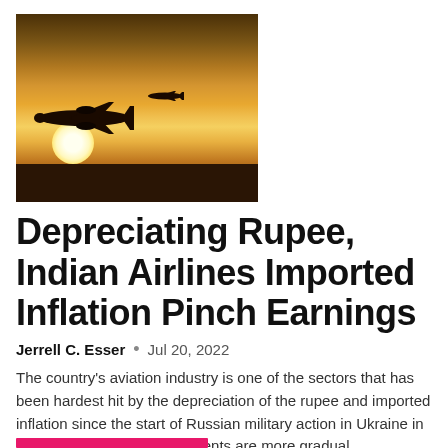[Figure (photo): Silhouette of a large commercial aircraft with a smaller plane in the background, flying against a golden sunset sky with a bright sun near the horizon, with dark ground at the bottom.]
Depreciating Rupee, Indian Airlines Imported Inflation Pinch Earnings
Jerrell C. Esser  •  Jul 20, 2022
The country's aviation industry is one of the sectors that has been hardest hit by the depreciation of the rupee and imported inflation since the start of Russian military action in Ukraine in February. "Currency movements are more gradual...